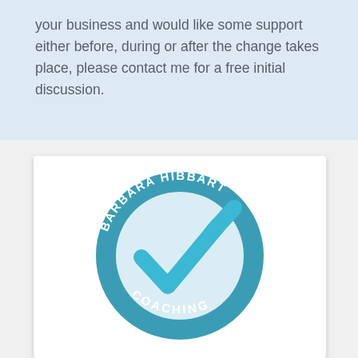your business and would like some support either before, during or after the change takes place, please contact me for a free initial discussion.
[Figure (logo): Barbara Hibbart Coaching circular logo with teal ring, text 'BARBARA HIBBART' on upper arc and 'COACHING' on lower arc, with a large teal checkmark in the center on a light blue background.]